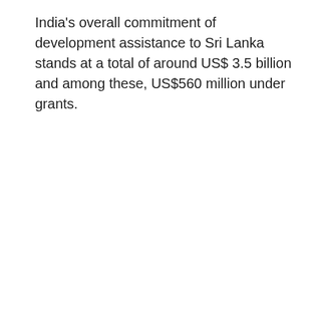India's overall commitment of development assistance to Sri Lanka stands at a total of around US$ 3.5 billion and among these, US$560 million under grants.